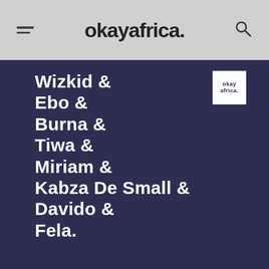okayafrica.
Wizkid & Ebo & Burna & Tiwa & Miriam & Kabza De Small & Davido & Fela.
GET UPDATES ON THE LATEST MUSIC, NEWS, EVENTS & MORE IN YOUR INBOX
ENTER EMAIL HERE
GET THE UPDATES
DECLINE ACCESS
[Figure (photo): Partial view of people at bottom of page]